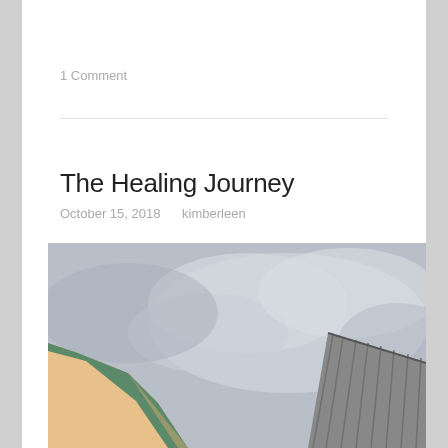1 Comment
The Healing Journey
October 15, 2018    kimberleen
[Figure (photo): Photo looking upward between two structures — a yellow/orange building with green metal roof trim on the left and a corrugated metal roof on the right — against a grey overcast sky.]